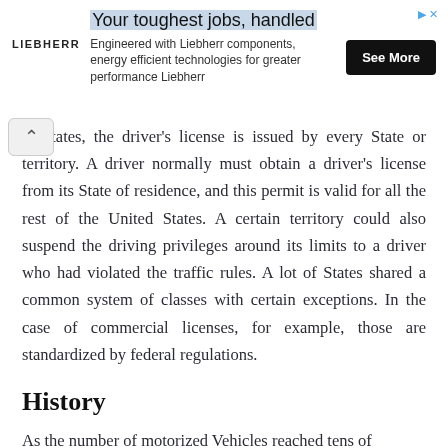[Figure (other): Advertisement banner for Liebherr: 'Your toughest jobs, handled' with tagline 'Engineered with Liebherr components, energy efficient technologies for greater performance Liebherr' and a 'See More' button.]
ie States, the driver's license is issued by every State or territory. A driver normally must obtain a driver's license from its State of residence, and this permit is valid for all the rest of the United States. A certain territory could also suspend the driving privileges around its limits to a driver who had violated the traffic rules. A lot of States shared a common system of classes with certain exceptions. In the case of commercial licenses, for example, those are standardized by federal regulations.
History
As the number of motorized Vehicles reached tens of